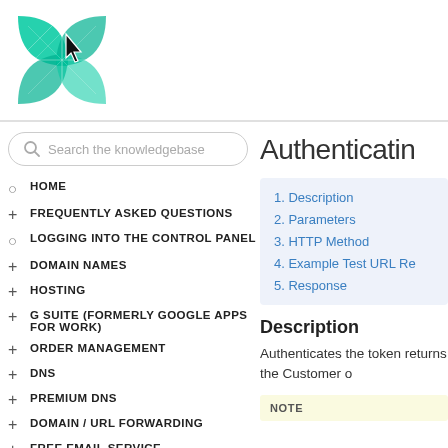[Figure (logo): Green geometric leaf/spider web logo with a cursor arrow icon]
Search the knowledgebase
HOME
FREQUENTLY ASKED QUESTIONS
LOGGING INTO THE CONTROL PANEL
DOMAIN NAMES
HOSTING
G SUITE (FORMERLY GOOGLE APPS FOR WORK)
ORDER MANAGEMENT
DNS
PREMIUM DNS
DOMAIN / URL FORWARDING
FREE EMAIL SERVICE
Authenticatin
1. Description
2. Parameters
3. HTTP Method
4. Example Test URL Re
5. Response
Description
Authenticates the token returns the Customer o
NOTE